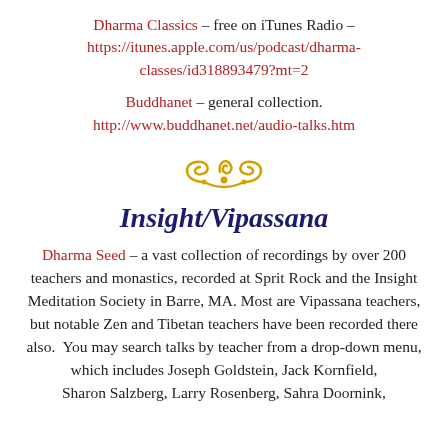Dharma Classics – free on iTunes Radio – https://itunes.apple.com/us/podcast/dharma-classes/id318893479?mt=2
Buddhanet – general collection. http://www.buddhanet.net/audio-talks.htm
[Figure (illustration): Decorative golden swirl/scroll ornament]
Insight/Vipassana
Dharma Seed – a vast collection of recordings by over 200 teachers and monastics, recorded at Sprit Rock and the Insight Meditation Society in Barre, MA. Most are Vipassana teachers, but notable Zen and Tibetan teachers have been recorded there also. You may search talks by teacher from a drop-down menu, which includes Joseph Goldstein, Jack Kornfield, Sharon Salzberg, Larry Rosenberg, Sahra Doornink,